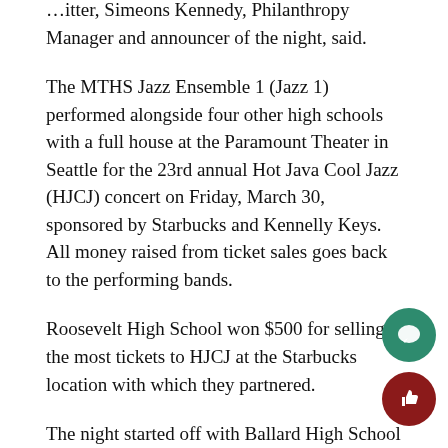…itter, Simeons Kennedy, Philanthropy Manager and announcer of the night, said.
The MTHS Jazz Ensemble 1 (Jazz 1) performed alongside four other high schools with a full house at the Paramount Theater in Seattle for the 23rd annual Hot Java Cool Jazz (HJCJ) concert on Friday, March 30, sponsored by Starbucks and Kennelly Keys. All money raised from ticket sales goes back to the performing bands.
Roosevelt High School won $500 for selling the most tickets to HJCJ at the Starbucks location with which they partnered.
The night started off with Ballard High School (BHS) playing “St. Louis Blues,” which had a strong beginning an impressive exhibition of skill. Following the high up song came a mellow sentimental song called “Prelude to Kiss.” Finishing up with a bang, BHS played “A Night Tunisia,” a fast paced and loud song.